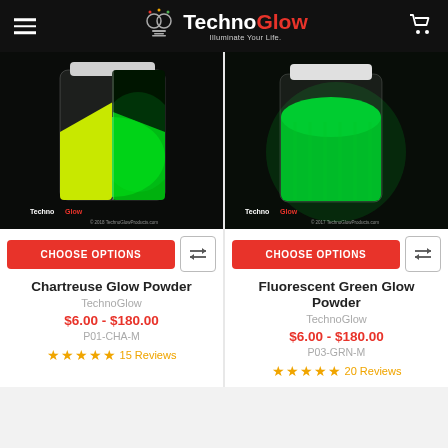TechnoGlow — Illuminate Your Life.
[Figure (photo): Chartreuse glow powder in a clear jar, split view showing yellow-green powder on left and bright green glow on right, on dark background. TechnoGlow logo and copyright 2018 TechnoGlowProducts.com watermark.]
[Figure (photo): Fluorescent Green glow powder in a clear jar with white cap, showing bright green glow on dark background. TechnoGlow logo and copyright 2017 TechnoGlowProducts.com watermark.]
CHOOSE OPTIONS
CHOOSE OPTIONS
Chartreuse Glow Powder
TechnoGlow
$6.00 - $180.00
P01-CHA-M
★★★★★ 15 Reviews
Fluorescent Green Glow Powder
TechnoGlow
$6.00 - $180.00
P03-GRN-M
★★★★★ 20 Reviews